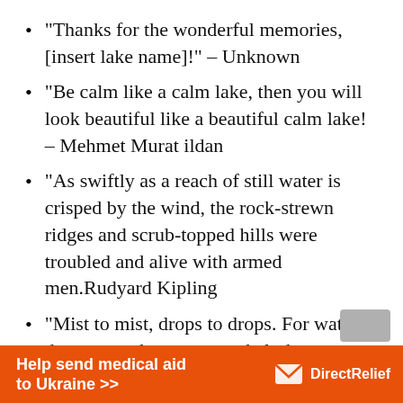“Thanks for the wonderful memories, [insert lake name]!” – Unknown
“Be calm like a calm lake, then you will look beautiful like a beautiful calm lake! – Mehmet Murat ildan
“As swiftly as a reach of still water is crisped by the wind, the rock-strewn ridges and scrub-topped hills were troubled and alive with armed men.Rudyard Kipling
“Mist to mist, drops to drops. For water thou art, and unto water shalt thou return.”— Kamand Kojouri
Help send medical aid to Ukraine >>   Direct Relief